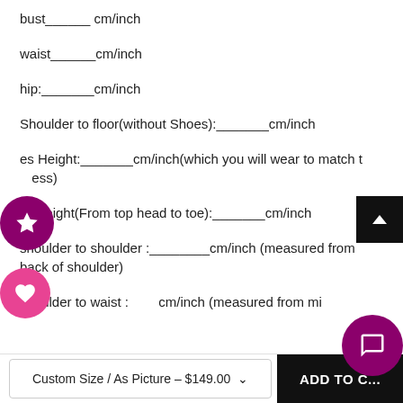bust______ cm/inch
waist______cm/inch
hip:_______cm/inch
Shoulder to floor(without Shoes):_______cm/inch
es Height:_______cm/inch(which you will wear to match the dress)
re Height(From top head to toe):_______cm/inch
shoulder to shoulder :________cm/inch (measured from back of shoulder)
shoulder to waist :________ cm/inch (measured from mi...
Custom Size / As Picture – $149.00
ADD TO C...